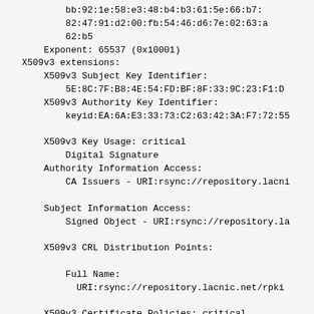bb:92:1e:58:e3:48:b4:b3:61:5e:66:b7:
            82:47:91:d2:00:fb:54:46:d6:7e:02:63:a
            62:b5
        Exponent: 65537 (0x10001)
    X509v3 extensions:
        X509v3 Subject Key Identifier:
            5E:8C:7F:B8:4E:54:FD:BF:8F:33:9C:23:F1:D
        X509v3 Authority Key Identifier:
            keyid:EA:6A:E3:33:73:C2:63:42:3A:F7:72:55

        X509v3 Key Usage: critical
            Digital Signature
        Authority Information Access:
            CA Issuers - URI:rsync://repository.lacni

        Subject Information Access:
            Signed Object - URI:rsync://repository.la

        X509v3 CRL Distribution Points:

            Full Name:
              URI:rsync://repository.lacnic.net/rpki

        X509v3 Certificate Policies: critical
            Policy: ipAddr-asNumber

        sbgp-ipAddrBlock: critical
            IPv4:
              45.235.120.0/22
            IPv6: